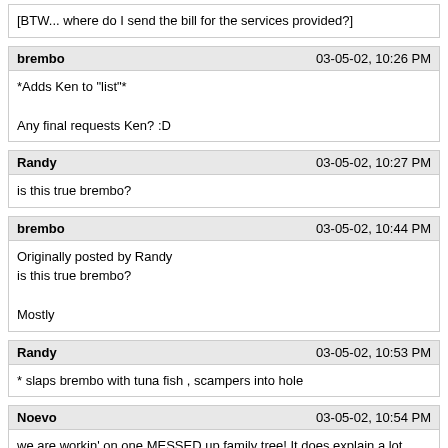[BTW... where do I send the bill for the services provided?]
brembo	03-05-02, 10:26 PM
*Adds Ken to "list"*
Any final requests Ken? :D
Randy	03-05-02, 10:27 PM
is this true brembo?
brembo	03-05-02, 10:44 PM
Originally posted by Randy
is this true brembo?
Mostly
Randy	03-05-02, 10:53 PM
* slaps brembo with tuna fish , scampers into hole
Noevo	03-05-02, 10:54 PM
we are workin' on one MESSED up family tree! It does explain a lot though...
good stuff Ken :D
nightowl	03-05-02, 11:06 PM